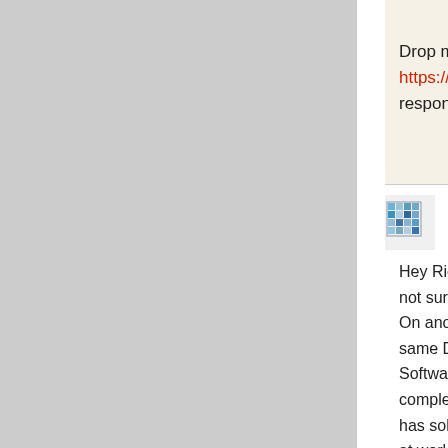[Figure (photo): Small avatar/profile image thumbnail in dark tones at top right]
Drop me a m https://direc respond an
Thanks!
Loading...
[Figure (photo): Pixelated/mosaic avatar thumbnail for Harry John]
Harry John
Hey Richard not sure I g On another same DPAP Software Ke complete lo has solved t at work – a